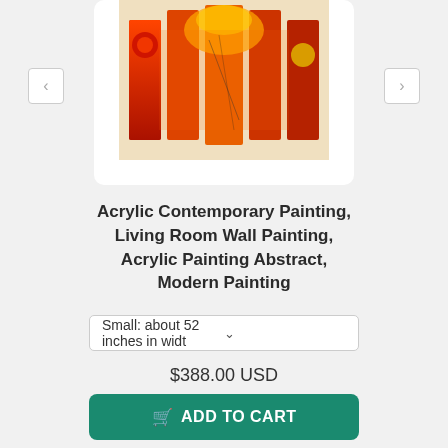[Figure (photo): Partial view of a multi-panel acrylic abstract painting in red, orange, and yellow tones, shown in a white rounded carousel box with left and right navigation arrows.]
Acrylic Contemporary Painting, Living Room Wall Painting, Acrylic Painting Abstract, Modern Painting
Small: about 52 inches in width
$388.00 USD
ADD TO CART